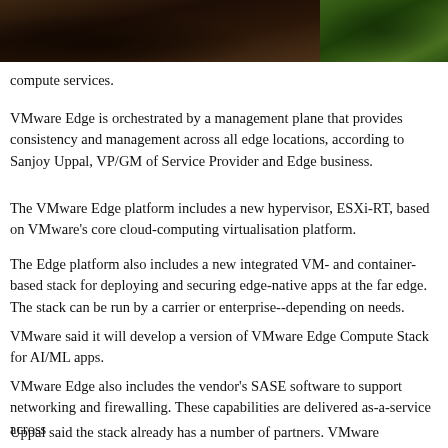[Figure (photo): Outdoor photo showing dark bark/wood on the left portion and green grass/foliage on the right portion, partially cropped at top of page]
compute services.
VMware Edge is orchestrated by a management plane that provides consistency and management across all edge locations, according to Sanjay Uppal, VP/GM of Service Provider and Edge business.
The VMware Edge platform includes a new hypervisor, ESXi-RT, based on VMware's core cloud-computing virtualisation platform.
The Edge platform also includes a new integrated VM- and container-based stack for deploying and securing edge-native apps at the far edge. The stack can be run by a carrier or enterprise--depending on needs.
VMware said it will develop a version of VMware Edge Compute Stack for AI/ML apps.
VMware Edge also includes the vendor's SASE software to support networking and firewalling. These capabilities are delivered as-a-service across
Uppal said the stack already has a number of partners. VMware is also working with it to integrate the network connectivity Dell EMC, Rogers Telecom, UTAC...